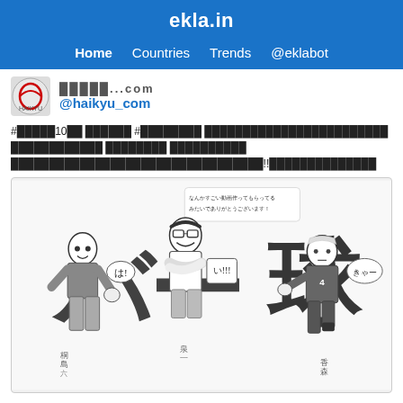ekla.in
Home  Countries  Trends  @eklabot
█████.com  @haikyu_com
#█████10██ ██████ #████████ ████████████████ ████████████ ████████ ██████████ █████████████████████████████!!██████████████
[Figure (illustration): Black and white manga illustration showing three anime characters from Haikyuu with large Japanese calligraphy characters in the background. Characters are drawn in typical shonen manga style with speech bubbles containing Japanese text.]